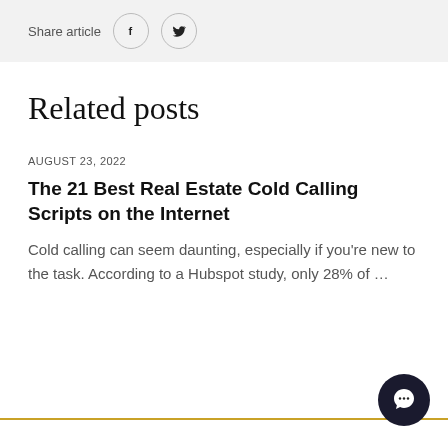Share article
Related posts
AUGUST 23, 2022
The 21 Best Real Estate Cold Calling Scripts on the Internet
Cold calling can seem daunting, especially if you're new to the task. According to a Hubspot study, only 28% of …